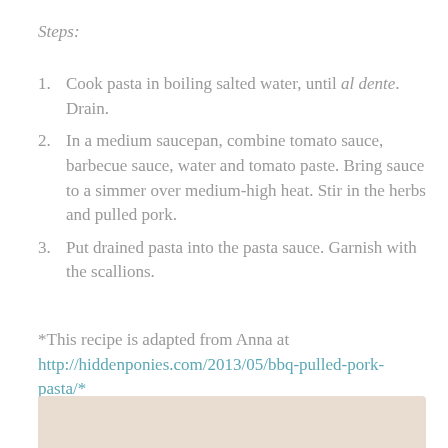Steps:
Cook pasta in boiling salted water, until al dente. Drain.
In a medium saucepan, combine tomato sauce, barbecue sauce, water and tomato paste. Bring sauce to a simmer over medium-high heat. Stir in the herbs and pulled pork.
Put drained pasta into the pasta sauce. Garnish with the scallions.
*This recipe is adapted from Anna at http://hiddenponies.com/2013/05/bbq-pulled-pork-pasta/*
[Figure (photo): Photo of the finished BBQ pulled pork pasta dish, partially visible at bottom of page]